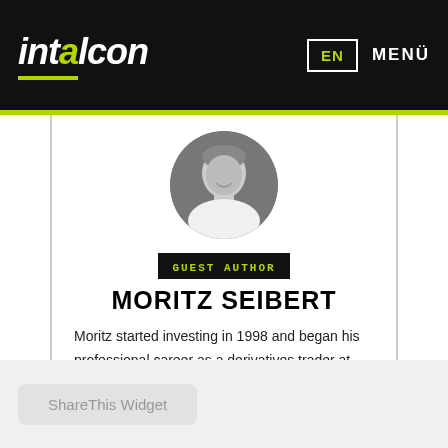intalcon | EN | MENÜ
[Figure (photo): Circular black and white headshot of Moritz Seibert, a man in a white shirt smiling]
GUEST AUTHOR
MORITZ SEIBERT
Moritz started investing in 1998 and began his professional career as a derivatives trader at HSBC in Germany. Later, he worked for RBS in the UK as well as in the USA, where he was responsible for the bank's equity derivatives
ShareThis Widget